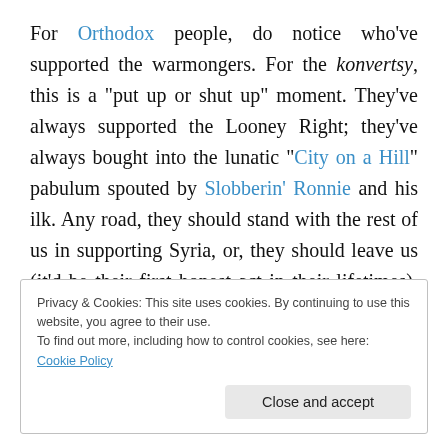For Orthodox people, do notice who've supported the warmongers. For the konvertsy, this is a "put up or shut up" moment. They've always supported the Looney Right; they've always bought into the lunatic "City on a Hill" pabulum spouted by Slobberin' Ronnie and his ilk. Any road, they should stand with the rest of us in supporting Syria, or, they should leave us (it'd be their first honest act in their lifetimes). I've had enough of their hubristic posturing… I'm not alone in that. The Orthosphere is a reality… Orthodoxy isn't just a religion… it's a little bit
Privacy & Cookies: This site uses cookies. By continuing to use this website, you agree to their use.
To find out more, including how to control cookies, see here: Cookie Policy
Close and accept